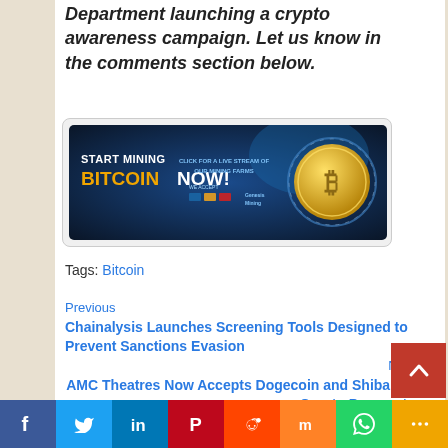Department launching a crypto awareness campaign. Let us know in the comments section below.
[Figure (other): Advertisement banner for Genesis Mining - Start Mining Bitcoin Now! with Bitcoin logo and click for live stream of mining farms text]
Tags: Bitcoin
Previous
Chainalysis Launches Screening Tools Designed to Prevent Sanctions Evasion
Next
AMC Theatres Now Accepts Dogecoin and Shiba Inu Crypto Payments
[Figure (other): Social media share buttons bar: Facebook, Twitter, LinkedIn, Pinterest, Reddit, Mix, WhatsApp, More]